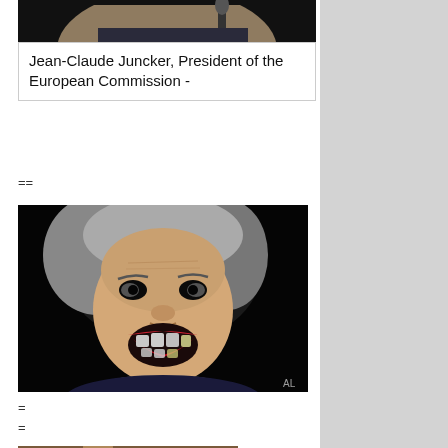[Figure (photo): Partial cropped photo of a person at top of page, showing lower face/chin area against dark background]
Jean-Claude Juncker, President of the European Commission -
==
[Figure (photo): Close-up photo of a woman with her mouth open wide, appearing to be shouting or yelling, with grey/white hair, wearing a necklace, against a dark background. Watermark 'AL' in bottom right corner.]
=
=
[Figure (photo): Partial photo of an elderly person, cropped, showing top of head/face area, warm brownish tones]